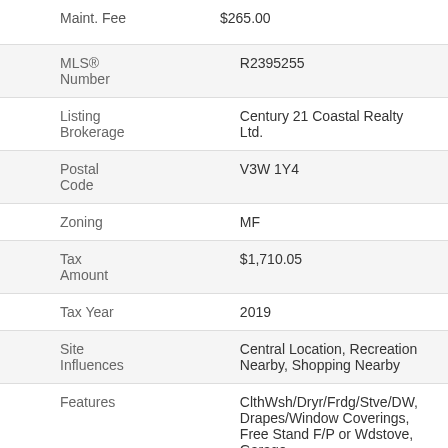Maint. Fee   $265.00
| Field | Value |
| --- | --- |
| MLS® Number | R2395255 |
| Listing Brokerage | Century 21 Coastal Realty Ltd. |
| Postal Code | V3W 1Y4 |
| Zoning | MF |
| Tax Amount | $1,710.05 |
| Tax Year | 2019 |
| Site Influences | Central Location, Recreation Nearby, Shopping Nearby |
| Features | ClthWsh/Dryr/Frdg/Stve/DW, Drapes/Window Coverings, Free Stand F/P or Wdstove, Garage |